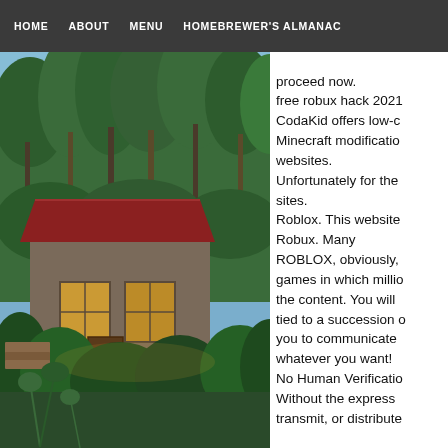HOME   ABOUT   MENU   HOMEBREWER'S ALMANAC
[Figure (photo): A rustic cabin or small building with a red metal roof surrounded by dense green trees and lush vegetation, taken at dusk with a warm interior light visible through windows.]
proceed now. free robux hack 2021 CodaKid offers low-c Minecraft modificatio websites. Unfortunately for the sites. Roblox. This website Robux. Many ROBLOX, obviously, games in which millio the content. You will tied to a succession  you to communicate whatever you want! No Human Verificatio Without the express transmit, or distribute